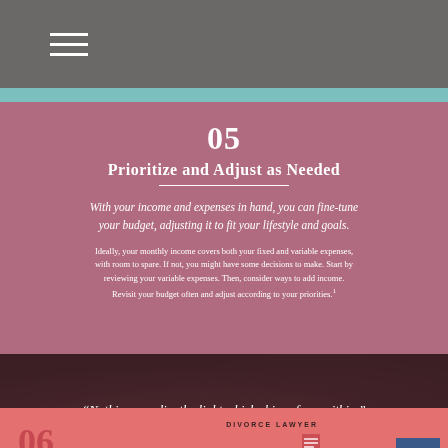05
Prioritize and Adjust as Needed
With your income and expenses in hand, you can fine-tune your budget, adjusting it to fit your lifestyle and goals.
Ideally, your monthly income covers both your fixed and variable expenses, with room to spare. If not, you might have some decisions to make. Start by reviewing your variable expenses. Then, consider ways to add income. Revisit your budget often and adjust according to your priorities.
“Nothing can dim the light which shines from within.”
Maya Angelou
06
DIVORCE LAWYER